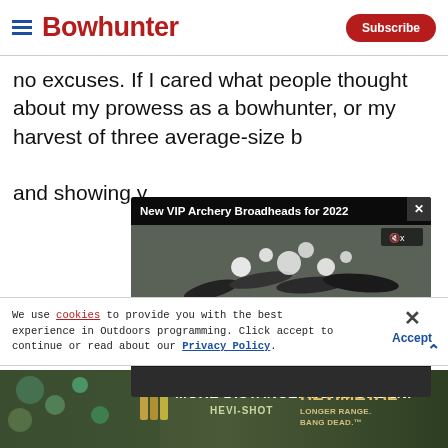Bowhunter | Subscribe
no excuses. If I cared what people thought about my prowess as a bowhunter, or my harvest of three average-size b[…] and showing y[…]
[Figure (screenshot): Video popup overlay showing 'New VIP Archery Broadheads for 2022' with broadhead product images and video controls showing 00:00 / 06:23]
I lowered the b[…] bowhunting. I n[…] travel to that d[…] my decision. Mine alone.
We use cookies to provide you with the best experience in Outdoors programming. Click accept to continue or read about our Privacy Policy.
Advertisement
[Figure (screenshot): Hevi-Shot Hevi-Metal advertisement banner: MORE DISTANCE. MORE GREEN. HEVI-SHOT / HEVI METAL LONGER RANGE. BANG DEAD.]